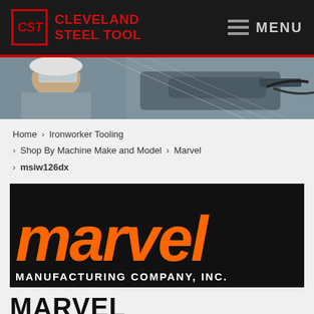Cleveland Steel Tool — MENU
[Figure (photo): Hero photo of a worker wearing safety glasses using a power drill/tool]
Home > Ironworker Tooling > Shop By Machine Make and Model > Marvel > msiw126dx
[Figure (logo): Marvel Manufacturing Company, Inc. logo — orange italic 'marvel' text on black background with white 'MANUFACTURING COMPANY, INC.' subtitle]
MARVEL